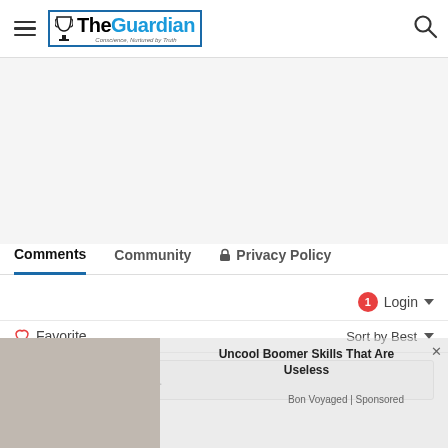The Guardian — Conscience, Nurtured by Truth
Comments   Community   Privacy Policy
Login  ▾
♡ Favorite   Sort by Best ▾
Start the discussion…
LOG IN WITH
Uncool Boomer Skills That Are Useless
Bon Voyaged | Sponsored